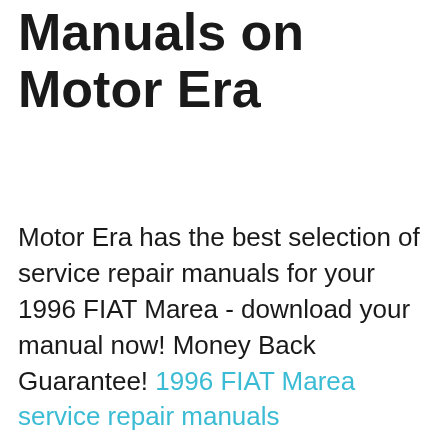Manuals on Motor Era
Motor Era has the best selection of service repair manuals for your 1996 FIAT Marea - download your manual now! Money Back Guarantee! 1996 FIAT Marea service repair manuals